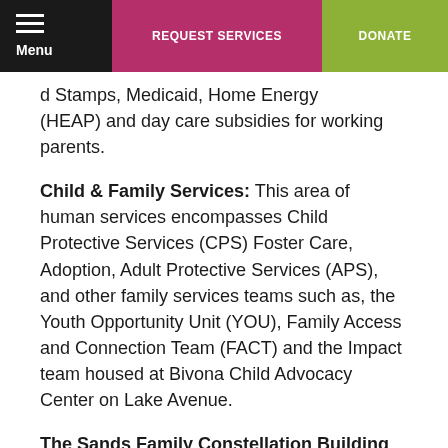Menu | REQUEST SERVICES | DONATE
d Stamps, Medicaid, Home Energy Assistance Program (HEAP) and day care subsidies for working parents.
Child & Family Services:  This area of human services encompasses Child Protective Services (CPS) Foster Care, Adoption, Adult Protective Services (APS), and other family services teams such as, the Youth Opportunity Unit (YOU), Family Access and Connection Team (FACT) and the Impact team housed at Bivona Child Advocacy Center on Lake Avenue.
The Sands Family Constellation Building at the Monroe County Pediatric & Visitation Center:  This facility is a joint venture between Monroe County Department of Human Services, Monroe County Department of Health-Starlight Pediatric Clinic and the Society for Protection and Care of Children (SPCC). The center provides a revolutionary state-of-the-art facility enhancing our already established premier medical home for foster care children, co-located with a supervised visitation center.
The Children's Protection Center is a co-location facility for